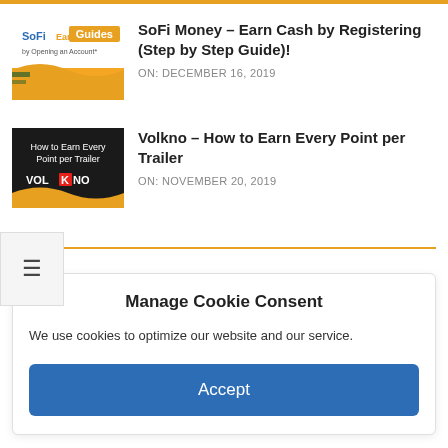[Figure (screenshot): SoFi Earn $75 by Opening an Account thumbnail with orange Guides badge]
SoFi Money – Earn Cash by Registering (Step by Step Guide)!
ON:  DECEMBER 16, 2019
[Figure (screenshot): Volkno – How to Earn Every Point per Trailer thumbnail with black background and orange graphic]
Volkno – How to Earn Every Point per Trailer
ON:  NOVEMBER 20, 2019
ADS
Manage Cookie Consent
We use cookies to optimize our website and our service.
Accept